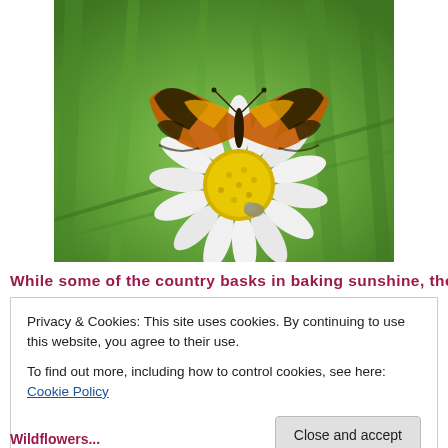[Figure (photo): A tortoiseshell butterfly perched on a white daisy flower with a yellow centre, set against a blurred green grass background.]
While some of the country basks in baking sunshine, the
Privacy & Cookies: This site uses cookies. By continuing to use this website, you agree to their use.
To find out more, including how to control cookies, see here: Cookie Policy
Close and accept
Wildflowers...